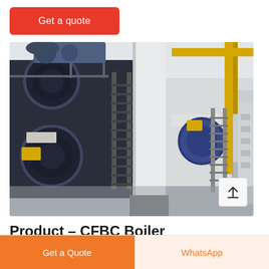Get a quote
[Figure (photo): Industrial boiler room showing multiple large boilers with access stairs, yellow piping, and a large dark blue boiler on the left side, inside a factory/plant facility.]
Product – CFBC Boiler Manufacturer
Get a Quote
WhatsApp